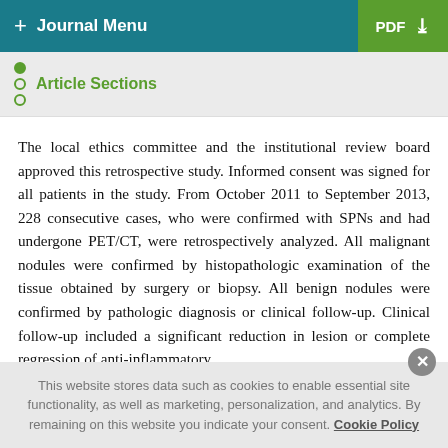+ Journal Menu  PDF ↓
Article Sections
The local ethics committee and the institutional review board approved this retrospective study. Informed consent was signed for all patients in the study. From October 2011 to September 2013, 228 consecutive cases, who were confirmed with SPNs and had undergone PET/CT, were retrospectively analyzed. All malignant nodules were confirmed by histopathologic examination of the tissue obtained by surgery or biopsy. All benign nodules were confirmed by pathologic diagnosis or clinical follow-up. Clinical follow-up included a significant reduction in lesion or complete regression of anti-inflammatory
This website stores data such as cookies to enable essential site functionality, as well as marketing, personalization, and analytics. By remaining on this website you indicate your consent. Cookie Policy